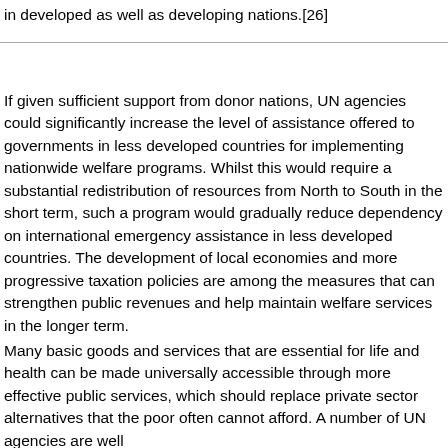in developed as well as developing nations.[26]
If given sufficient support from donor nations, UN agencies could significantly increase the level of assistance offered to governments in less developed countries for implementing nationwide welfare programs. Whilst this would require a substantial redistribution of resources from North to South in the short term, such a program would gradually reduce dependency on international emergency assistance in less developed countries. The development of local economies and more progressive taxation policies are among the measures that can strengthen public revenues and help maintain welfare services in the longer term.
Many basic goods and services that are essential for life and health can be made universally accessible through more effective public services, which should replace private sector alternatives that the poor often cannot afford. A number of UN agencies are well